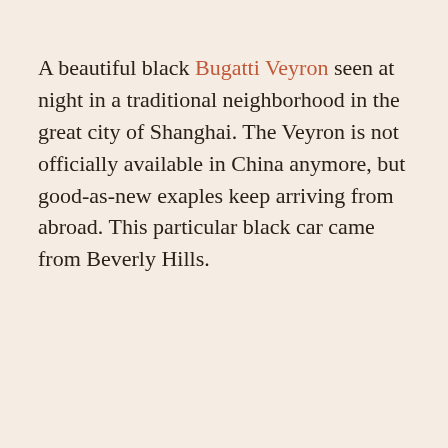A beautiful black Bugatti Veyron seen at night in a traditional neighborhood in the great city of Shanghai. The Veyron is not officially available in China anymore, but good-as-new exaples keep arriving from abroad. This particular black car came from Beverly Hills.